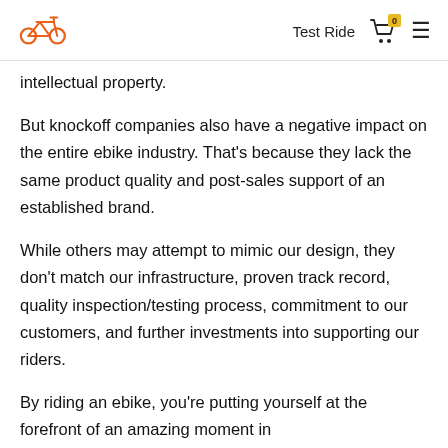Test Ride
intellectual property.
But knockoff companies also have a negative impact on the entire ebike industry. That's because they lack the same product quality and post-sales support of an established brand.
While others may attempt to mimic our design, they don't match our infrastructure, proven track record, quality inspection/testing process, commitment to our customers, and further investments into supporting our riders.
By riding an ebike, you're putting yourself at the forefront of an amazing moment in